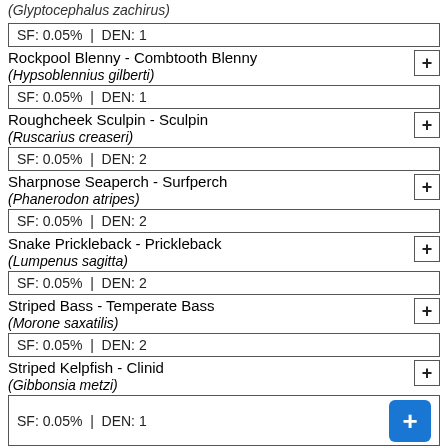(Glyptocephalus zachirus)
SF: 0.05% | DEN: 1
Rockpool Blenny - Combtooth Blenny (Hypsoblennius gilberti)
SF: 0.05% | DEN: 1
Roughcheek Sculpin - Sculpin (Ruscarius creaseri)
SF: 0.05% | DEN: 2
Sharpnose Seaperch - Surfperch (Phanerodon atripes)
SF: 0.05% | DEN: 2
Snake Prickleback - Prickleback (Lumpenus sagitta)
SF: 0.05% | DEN: 2
Striped Bass - Temperate Bass (Morone saxatilis)
SF: 0.05% | DEN: 2
Striped Kelpfish - Clinid (Gibbonsia metzi)
SF: 0.05% | DEN: 1
Sturgeon Poacher - Poacher